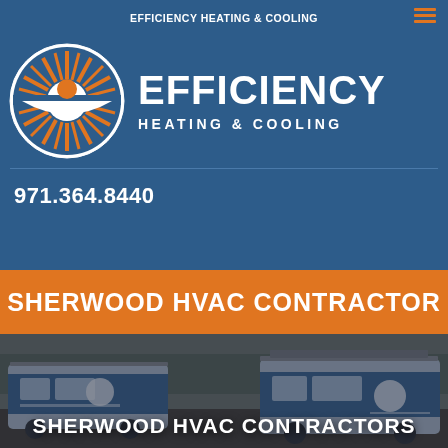EFFICIENCY HEATING & COOLING
[Figure (logo): Efficiency Heating & Cooling circular logo with sun rays in orange and white on blue background, with horizontal stripe]
EFFICIENCY HEATING & COOLING
971.364.8440
SHERWOOD HVAC CONTRACTOR
[Figure (photo): Two Efficiency Heating & Cooling branded service vans parked outdoors with blue overlay]
SHERWOOD HVAC CONTRACTORS